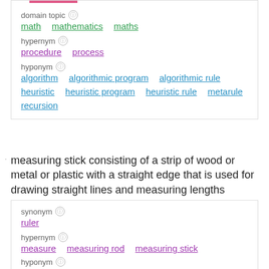domain topic
math   mathematics   maths
hypernym
procedure   process
hyponym
algorithm   algorithmic program   algorithmic rule   heuristic   heuristic program   heuristic rule   metarule   recursion
measuring stick consisting of a strip of wood or metal or plastic with a straight edge that is used for drawing straight lines and measuring lengths
synonym
ruler
hypernym
measure   measuring rod   measuring stick
hyponym